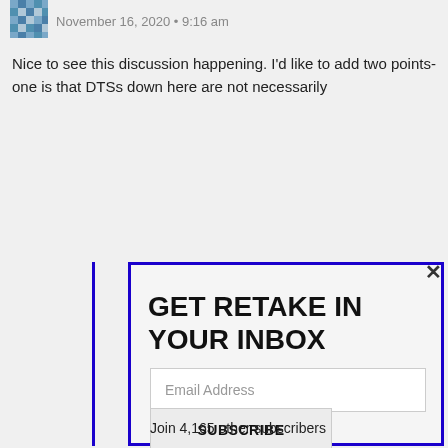November 16, 2020 • 9:16 am
Nice to see this discussion happening. I'd like to add two points-
one is that DTSs down here are not necessarily
GET RETAKE IN YOUR INBOX
Email Address
SUBSCRIBE
Join 4,165 other subscribers